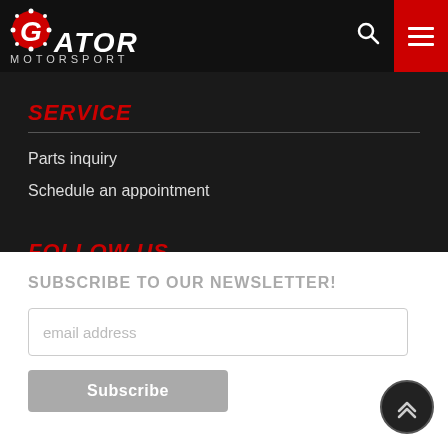[Figure (logo): Gator Motorsport logo with red G and white ATOR text, MOTORSPORT subtitle, on black header bar with search icon and red hamburger menu button]
SERVICE
Parts inquiry
Schedule an appointment
FOLLOW US
[Figure (illustration): Facebook and Instagram social media icons]
SUBSCRIBE TO OUR NEWSLETTER!
email address
Subscribe